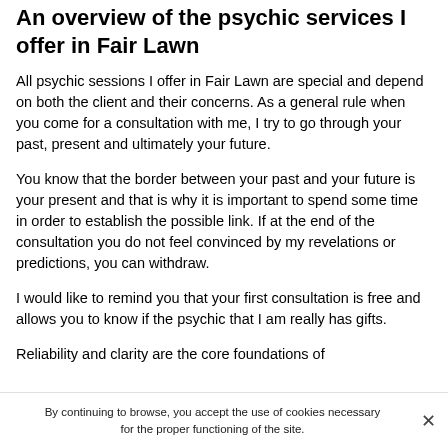An overview of the psychic services I offer in Fair Lawn
All psychic sessions I offer in Fair Lawn are special and depend on both the client and their concerns. As a general rule when you come for a consultation with me, I try to go through your past, present and ultimately your future.
You know that the border between your past and your future is your present and that is why it is important to spend some time in order to establish the possible link. If at the end of the consultation you do not feel convinced by my revelations or predictions, you can withdraw.
I would like to remind you that your first consultation is free and allows you to know if the psychic that I am really has gifts.
Reliability and clarity are the core foundations of...
By continuing to browse, you accept the use of cookies necessary for the proper functioning of the site.